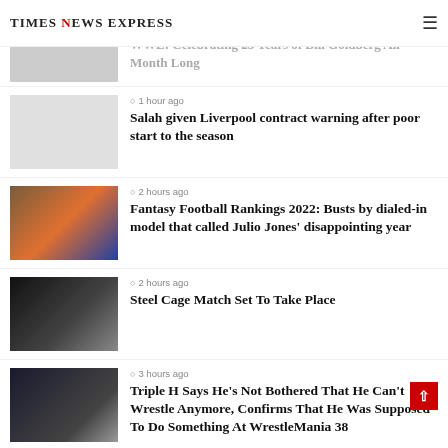Times News Express
WWE: Celebrating 25 Years of Bill Goldberg All Month Long
1 hour ago
Salah given Liverpool contract warning after poor start to the season
2 hours ago
Fantasy Football Rankings 2022: Busts by dialed-in model that called Julio Jones' disappointing year
2 hours ago
Steel Cage Match Set To Take Place
3 hours ago
Triple H Says He's Not Bothered That He Can't Wrestle Anymore, Confirms That He Was Supposed To Do Something At WrestleMania 38